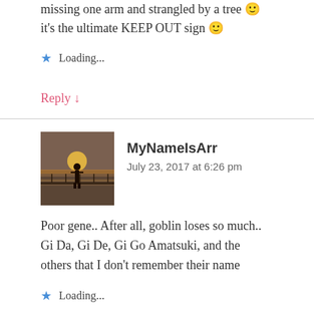missing one arm and strangled by a tree 🙂 it's the ultimate KEEP OUT sign 🙂
★ Loading...
Reply ↓
MyNameIsArr
July 23, 2017 at 6:26 pm
Poor gene.. After all, goblin loses so much.. Gi Da, Gi De, Gi Go Amatsuki, and the others that I don't remember their name
★ Loading...
Reply ↓